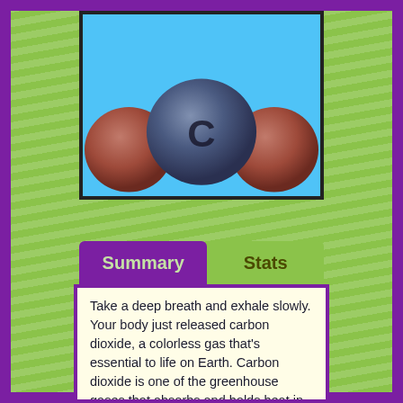[Figure (illustration): 3D molecular model of carbon dioxide (CO2) — one large blue central carbon atom with the letter C, flanked by two smaller brownish-red oxygen atoms, on a light blue background]
Summary
Stats
Take a deep breath and exhale slowly. Your body just released carbon dioxide, a colorless gas that's essential to life on Earth. Carbon dioxide is one of the greenhouse gases that absorbs and holds heat in Earth's atmosphere, keeping our planet warm enough for life to exist. But humans are increasing carbon